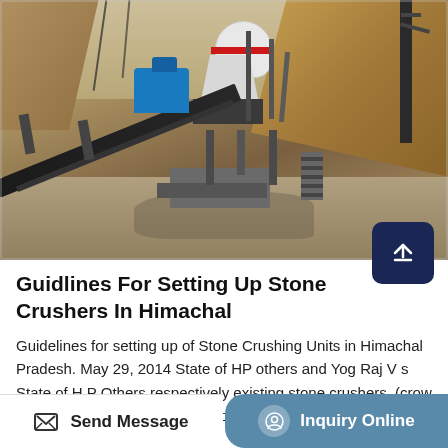[Figure (photo): Industrial stone crusher machine at a quarry/mining site. Shows a large white cone crusher with red band, conveyor belt at an angle, blue machinery, support structures, stairs, and rocky terrain in the background.]
Guidlines For Setting Up Stone Crushers In Himachal
Guidelines for setting up of Stone Crushing Units in Himachal Pradesh. May 29, 2014 State of HP others and Yog Raj V s State of H.P Others respectively existing stone crushers. (crow flight, distance in meters) set up after. .